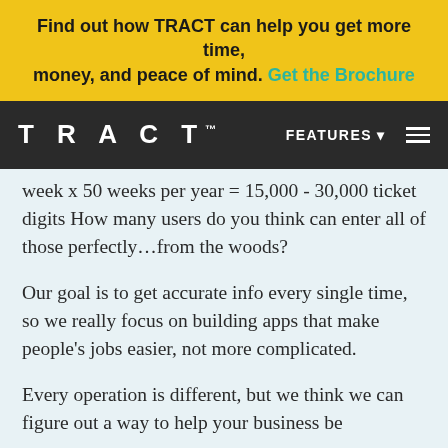Find out how TRACT can help you get more time, money, and peace of mind. Get the Brochure
TRACT™  FEATURES  ☰
week x 50 weeks per year = 15,000 - 30,000 ticket digits How many users do you think can enter all of those perfectly...from the woods?
Our goal is to get accurate info every single time, so we really focus on building apps that make people's jobs easier, not more complicated.
Every operation is different, but we think we can figure out a way to help your business be